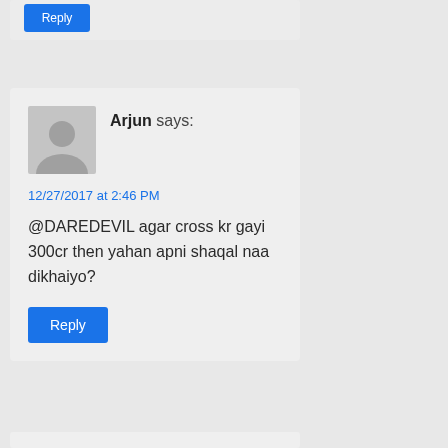[Figure (other): User avatar placeholder - gray silhouette icon]
Arjun says:
12/27/2017 at 2:46 PM
@DAREDEVIL agar cross kr gayi 300cr then yahan apni shaqal naa dikhaiyo?
Reply